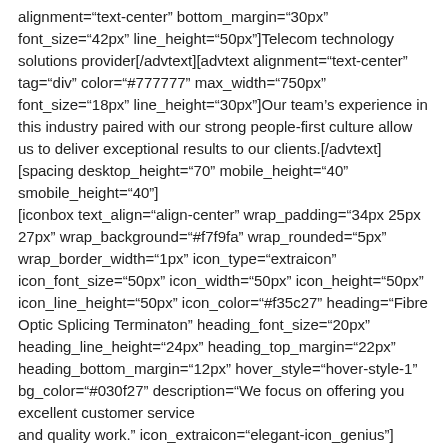alignment="text-center" bottom_margin="30px" font_size="42px" line_height="50px"]Telecom technology solutions provider[/advtext][advtext alignment="text-center" tag="div" color="#777777" max_width="750px" font_size="18px" line_height="30px"]Our team's experience in this industry paired with our strong people-first culture allow us to deliver exceptional results to our clients.[/advtext] [spacing desktop_height="70" mobile_height="40" smobile_height="40"] [iconbox text_align="align-center" wrap_padding="34px 25px 27px" wrap_background="#f7f9fa" wrap_rounded="5px" wrap_border_width="1px" icon_type="extraicon" icon_font_size="50px" icon_width="50px" icon_height="50px" icon_line_height="50px" icon_color="#f35c27" heading="Fibre Optic Splicing Terminaton" heading_font_size="20px" heading_line_height="24px" heading_top_margin="22px" heading_bottom_margin="12px" hover_style="hover-style-1" bg_color="#030f27" description="We focus on offering you excellent customer service and quality work." icon_extraicon="elegant-icon_genius"]